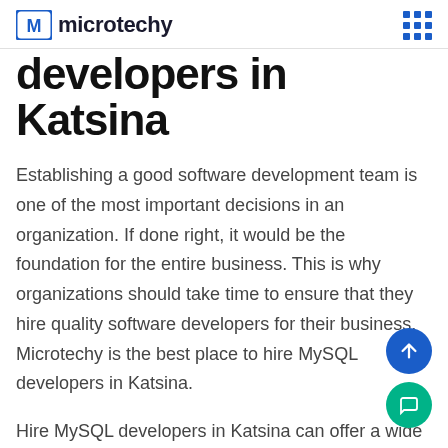microtechy
developers in Katsina
Establishing a good software development team is one of the most important decisions in an organization. If done right, it would be the foundation for the entire business. This is why organizations should take time to ensure that they hire quality software developers for their business. Microtechy is the best place to hire MySQL developers in Katsina.
Hire MySQL developers in Katsina can offer a wide range of benefits to companies that hire the right t. These benefits include the opportunity to create and manage digital applications, which is difficult or even